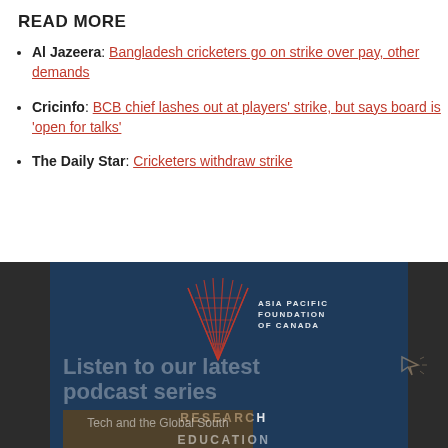READ MORE
Al Jazeera: Bangladesh cricketers go on strike over pay, other demands
Cricinfo: BCB chief lashes out at players' strike, but says board is 'open for talks'
The Daily Star: Cricketers withdraw strike
[Figure (logo): Asia Pacific Foundation of Canada logo with geometric triangle/arrow shape in red lines, and text reading ASIA PACIFIC FOUNDATION OF CANADA. Below is a dark blue banner with text 'Listen to our latest podcast series' and labels RESEARCH and EDUCATION. A cursor icon appears at right. A brown overlay shows 'Tech and the Global South'.]